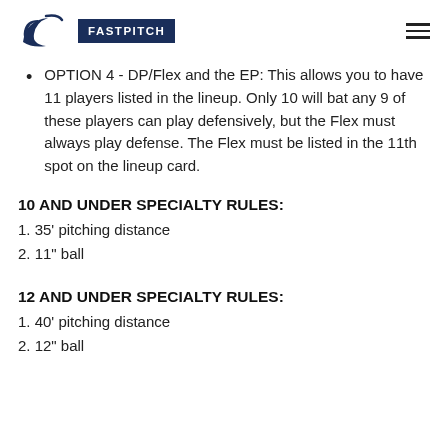FASTPITCH
OPTION 4 - DP/Flex and the EP: This allows you to have 11 players listed in the lineup. Only 10 will bat any 9 of these players can play defensively, but the Flex must always play defense. The Flex must be listed in the 11th spot on the lineup card.
10 AND UNDER SPECIALTY RULES:
1. 35' pitching distance
2. 11" ball
12 AND UNDER SPECIALTY RULES:
1. 40' pitching distance
2. 12" ball